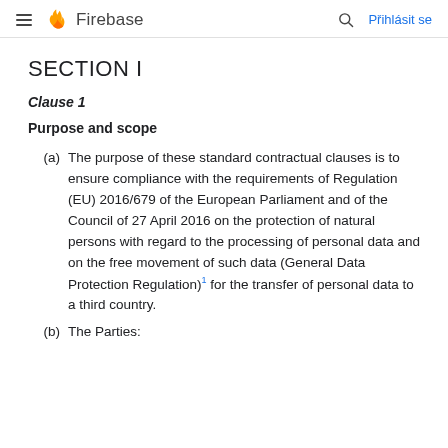Firebase — Přihlásit se
SECTION I
Clause 1
Purpose and scope
(a) The purpose of these standard contractual clauses is to ensure compliance with the requirements of Regulation (EU) 2016/679 of the European Parliament and of the Council of 27 April 2016 on the protection of natural persons with regard to the processing of personal data and on the free movement of such data (General Data Protection Regulation)¹ for the transfer of personal data to a third country.
(b) The Parties: